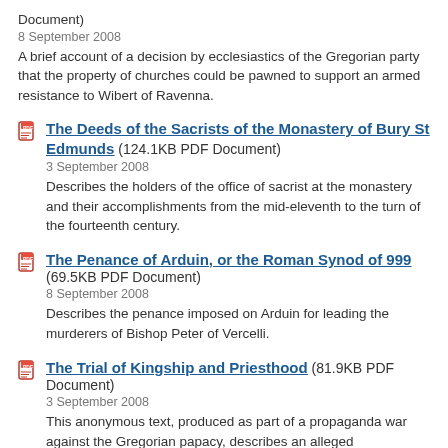Document)
8 September 2008
A brief account of a decision by ecclesiastics of the Gregorian party that the property of churches could be pawned to support an armed resistance to Wibert of Ravenna.
The Deeds of the Sacrists of the Monastery of Bury St Edmunds (124.1KB PDF Document)
3 September 2008
Describes the holders of the office of sacrist at the monastery and their accomplishments from the mid-eleventh to the turn of the fourteenth century.
The Penance of Arduin, or the Roman Synod of 999 (69.5KB PDF Document)
8 September 2008
Describes the penance imposed on Arduin for leading the murderers of Bishop Peter of Vercelli.
The Trial of Kingship and Priesthood (81.9KB PDF Document)
3 September 2008
This anonymous text, produced as part of a propaganda war against the Gregorian papacy, describes an alleged